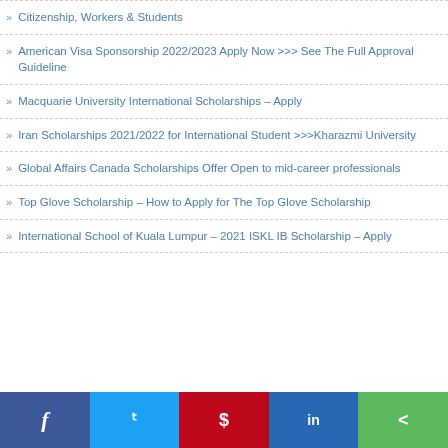Citizenship, Workers & Students
American Visa Sponsorship 2022/2023 Apply Now >>> See The Full Approval Guideline
Macquarie University International Scholarships – Apply
Iran Scholarships 2021/2022 for International Student >>>Kharazmi University
Global Affairs Canada Scholarships Offer Open to mid-career professionals
Top Glove Scholarship – How to Apply for The Top Glove Scholarship
International School of Kuala Lumpur – 2021 ISKL IB Scholarship – Apply